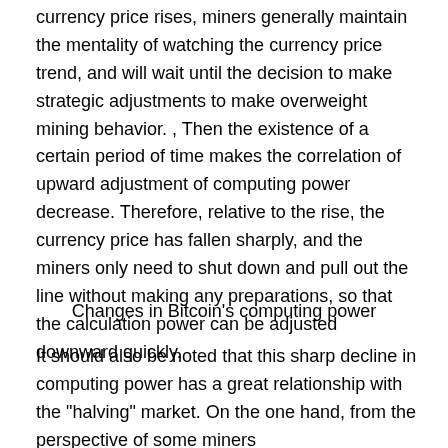currency price rises, miners generally maintain the mentality of watching the currency price trend, and will wait until the decision to make strategic adjustments to make overweight mining behavior. , Then the existence of a certain period of time makes the correlation of upward adjustment of computing power decrease. Therefore, relative to the rise, the currency price has fallen sharply, and the miners only need to shut down and pull out the line without making any preparations, so that the calculation power can be adjusted downward quickly.
Changes in Bitcoin's computing power
It should also be noted that this sharp decline in computing power has a great relationship with the "halving" market. On the one hand, from the perspective of some miners